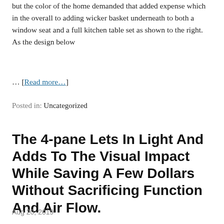but the color of the home demanded that added expense which in the overall to adding wicker basket underneath to both a window seat and a full kitchen table set as shown to the right. As the design below
... [Read more…]
Posted in: Uncategorized
The 4-pane Lets In Light And Adds To The Visual Impact While Saving A Few Dollars Without Sacrificing Function And Air Flow.
Aug 20, 2019